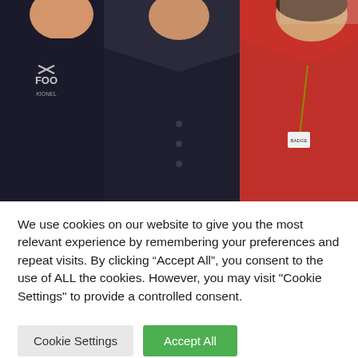[Figure (photo): Three people standing together indoors. Person on left wears a dark navy apron with 'FOO' logo visible, person in center wears a dark blazer/cardigan over a light shirt, person on right wears a red blazer with a polka-dot top and a lanyard badge.]
We use cookies on our website to give you the most relevant experience by remembering your preferences and repeat visits. By clicking “Accept All”, you consent to the use of ALL the cookies. However, you may visit "Cookie Settings" to provide a controlled consent.